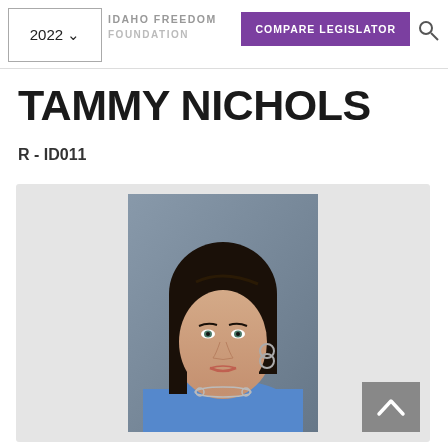2022 | IDAHO FREEDOM FOUNDATION | COMPARE LEGISLATOR
TAMMY NICHOLS
R - ID011
[Figure (photo): Professional headshot of Tammy Nichols, a woman with dark hair, wearing a blue top and silver necklace and hoop earrings, against a grey/blue background.]